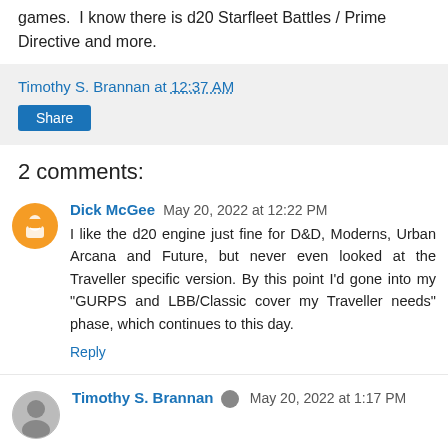games.  I know there is d20 Starfleet Battles / Prime Directive and more.
Timothy S. Brannan at 12:37 AM
Share
2 comments:
Dick McGee  May 20, 2022 at 12:22 PM
I like the d20 engine just fine for D&D, Moderns, Urban Arcana and Future, but never even looked at the Traveller specific version. By this point I'd gone into my "GURPS and LBB/Classic cover my Traveller needs" phase, which continues to this day.
Reply
Timothy S. Brannan  May 20, 2022 at 1:17 PM